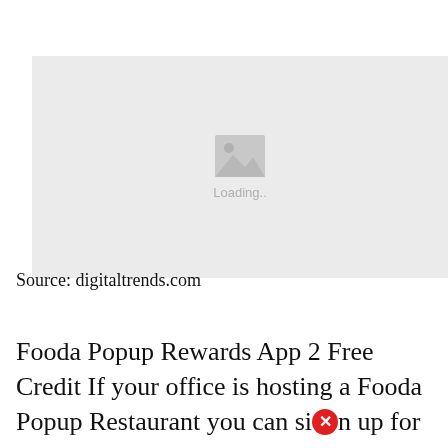[Figure (photo): Image placeholder with mountain/landscape icon and 'Loading..' text on a light gray background]
Source: digitaltrends.com
Fooda Popup Rewards App 2 Free Credit If your office is hosting a Fooda Popup Restaurant you can sign up for the Fooda